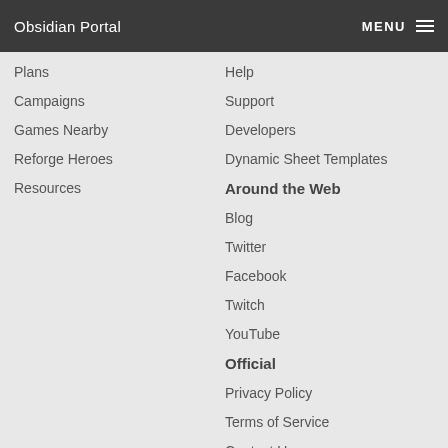Obsidian Portal
Plans
Campaigns
Games Nearby
Reforge Heroes
Resources
Help
Support
Developers
Dynamic Sheet Templates
Around the Web
Blog
Twitter
Facebook
Twitch
YouTube
Official
Privacy Policy
Terms of Service
Contact Us
About Us
©2022 Obsidian Portal